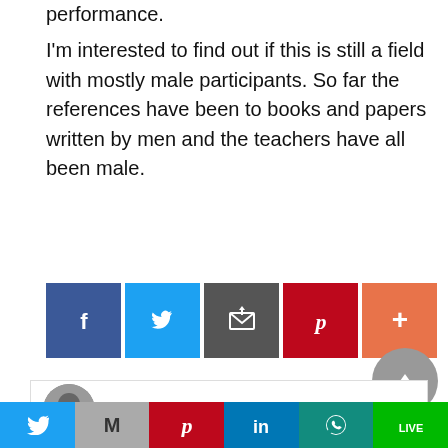performance.
I'm interested to find out if this is still a field with mostly male participants. So far the references have been to books and papers written by men and the teachers have all been male.
[Figure (infographic): Social share buttons: Facebook (blue), Twitter (light blue), Email/Subscribe (dark grey), Pinterest (red), More (orange-red)]
[Figure (infographic): Scroll to top button (grey circle with up arrow) and author card with avatar photo and name Carol Biddiss]
[Figure (infographic): Bottom social sharing bar with Twitter, Gmail/M, Pinterest, LinkedIn, WhatsApp, LINE buttons]